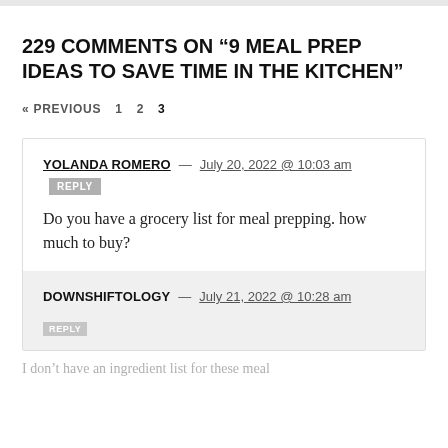229 COMMENTS ON “9 MEAL PREP IDEAS TO SAVE TIME IN THE KITCHEN”
« PREVIOUS  1  2  3
YOLANDA ROMERO — July 20, 2022 @ 10:03 am  REPLY
Do you have a grocery list for meal prepping. how much to buy?
DOWNSHIFTOLOGY — July 21, 2022 @ 10:28 am  REPLY
I don’t have an ingredient list for these meal